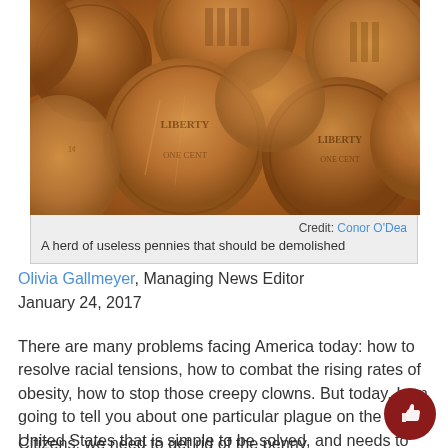[Figure (photo): A pile of copper pennies (US one-cent coins) photographed from above, showing heads and tails sides.]
Credit: Conor O'Dea
A herd of useless pennies that should be demolished
Olivia Gallmeyer, Managing News Editor
January 24, 2017
There are many problems facing America today: how to resolve racial tensions, how to combat the rising rates of obesity, how to stop those creepy clowns. But today, I am going to tell you about one particular plague on the United States that is simple to be solved, and needs to end today.
Citizens, we need to get rid of the penny